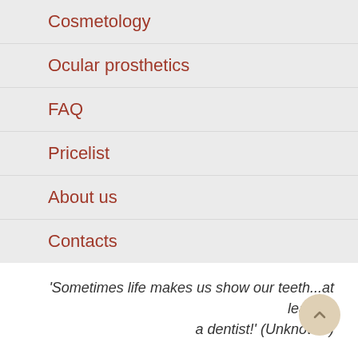Cosmetology
Ocular prosthetics
FAQ
Pricelist
About us
Contacts
'Sometimes life makes us show our teeth...at least to a dentist!' (Unknown.)
Beautiful, unimpaired teeth are like a mirror on our health. Unkempt, damaged, teeth are not only